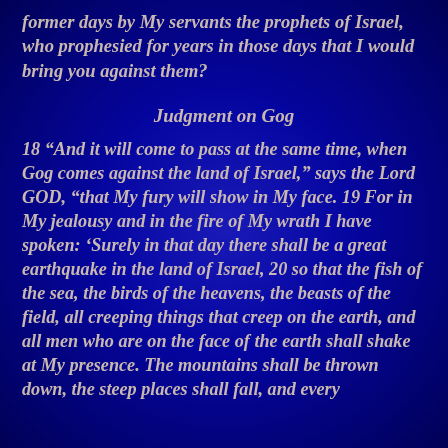former days by My servants the prophets of Israel, who prophesied for years in those days that I would bring you against them?
Judgment on Gog
18 “And it will come to pass at the same time, when Gog comes against the land of Israel,” says the Lord GOD, “that My fury will show in My face. 19 For in My jealousy and in the fire of My wrath I have spoken: ‘Surely in that day there shall be a great earthquake in the land of Israel, 20 so that the fish of the sea, the birds of the heavens, the beasts of the field, all creeping things that creep on the earth, and all men who are on the face of the earth shall shake at My presence. The mountains shall be thrown down, the steep places shall fall, and every